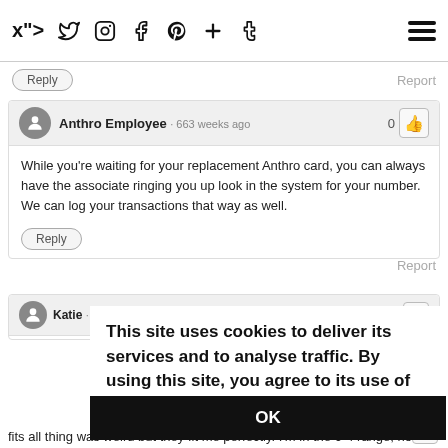Social media icons nav bar with hamburger menu
Reply   Report
Anthro Employee · 663 weeks ago   0
While you're waiting for your replacement Anthro card, you can always have the associate ringing you up look in the system for your number. We can log your transactions that way as well.
Reply   Report
Katie · 662 weeks ago   0
This site uses cookies to deliver its services and to analyse traffic. By using this site, you agree to its use of cookies.  Learn more
OK
fits all thing was weird but they fit me perfectly. I'm in the 0-4 range, not